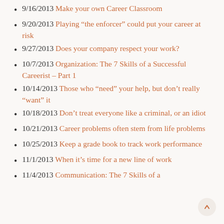9/16/2013 Make your own Career Classroom
9/20/2013 Playing “the enforcer” could put your career at risk
9/27/2013 Does your company respect your work?
10/7/2013 Organization: The 7 Skills of a Successful Careerist – Part 1
10/14/2013 Those who “need” your help, but don’t really “want” it
10/18/2013 Don’t treat everyone like a criminal, or an idiot
10/21/2013 Career problems often stem from life problems
10/25/2013 Keep a grade book to track work performance
11/1/2013 When it’s time for a new line of work
11/4/2013 Communication: The 7 Skills of a